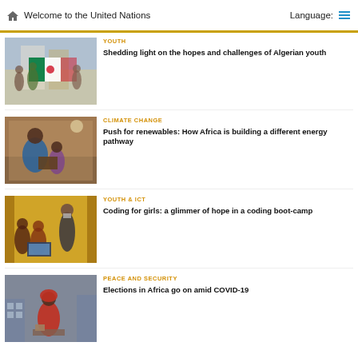Welcome to the United Nations  Language:
YOUTH
Shedding light on the hopes and challenges of Algerian youth
[Figure (photo): Group of young people holding an Algerian flag outdoors]
CLIMATE CHANGE
Push for renewables: How Africa is building a different energy pathway
[Figure (photo): Woman and child reading together indoors]
YOUTH & ICT
Coding for girls: a glimmer of hope in a coding boot-camp
[Figure (photo): Group of young women working on laptops at a coding bootcamp]
PEACE AND SECURITY
Elections in Africa go on amid COVID-19
[Figure (photo): Person in red clothing at a polling station]